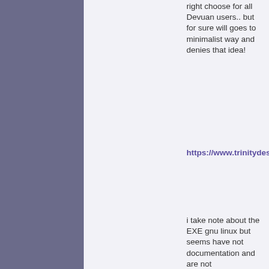right choose for all Devuan users.. but for sure will goes to minimalist way and denies that idea!
https://www.trinitydesktop.org/
i take note about the EXE gnu linux but seems have not documentation and are not preproducible.. so why not join off...